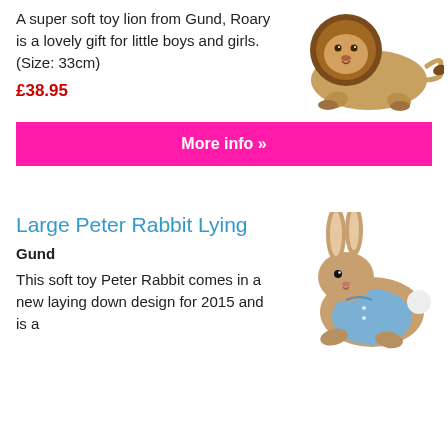A super soft toy lion from Gund, Roary is a lovely gift for little boys and girls. (Size: 33cm)
£38.95
[Figure (photo): Plush toy lion lying down with fluffy mane]
More info »
Large Peter Rabbit Lying
Gund
This soft toy Peter Rabbit comes in a new laying down design for 2015 and is a
[Figure (photo): Plush toy Peter Rabbit lying down wearing blue jacket]